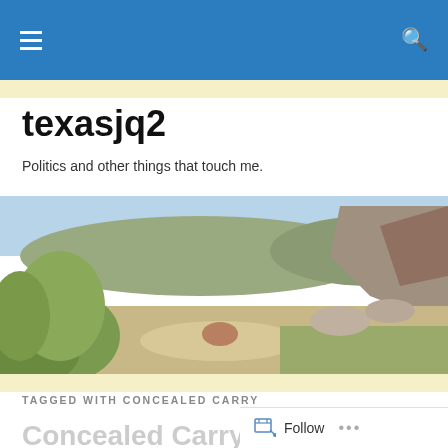texasjq2 – navigation bar with hamburger menu and search icon
texasjq2
Politics and other things that touch me.
[Figure (photo): Landscape photo of a dry rocky canyon with scrubby trees and hills in Texas]
TAGGED WITH CONCEALED CARRY
Concealed Carry on Ca…